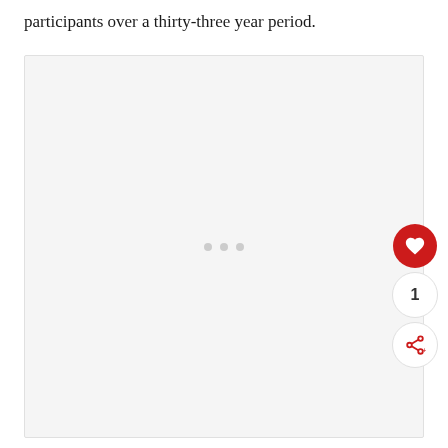participants over a thirty-three year period.
[Figure (other): Loading placeholder image area with three gray dots centered in a light gray rectangular box. Floating action buttons visible on the right side: a red circular heart/like button, a white circular count button showing '1', and a white circular share button with a share icon.]